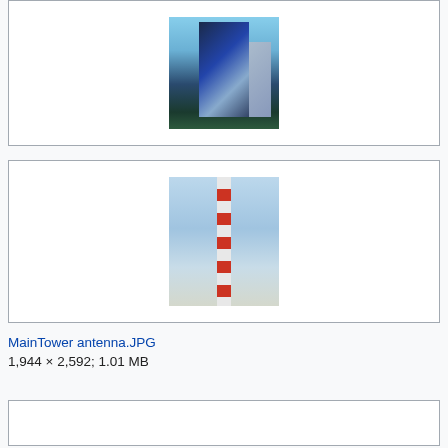[Figure (photo): Photo of Maintower skyscraper in Frankfurt, a tall glass building with blue reflective facade, surrounded by trees and other buildings, against a blue sky.]
Maintower (Taunusanlage)a.jpg
1,740 × 1,920; 1.93 MB
[Figure (photo): Photo of MainTower antenna, a tall red and white striped antenna/chimney photographed from below against a blue cloudy sky.]
MainTower antenna.JPG
1,944 × 2,592; 1.01 MB
[Figure (photo): Partially visible gallery item at bottom of page.]